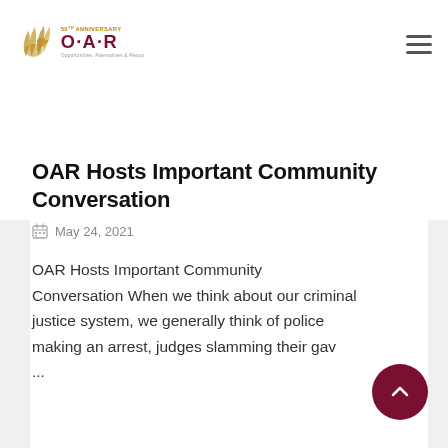[Figure (logo): OAR 50th Anniversary logo with golden bird and dark red text reading O·A·R and Opportunities, Alternatives & Resources]
OAR Hosts Important Community Conversation
May 24, 2021
OAR Hosts Important Community Conversation When we think about our criminal justice system, we generally think of police making an arrest, judges slamming their gav...